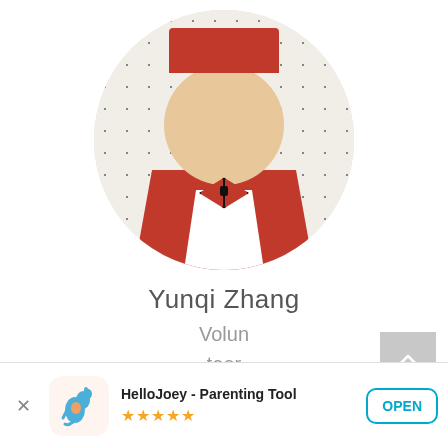[Figure (photo): Circular profile photo of a young child wearing a red graduation cap and red graduation gown with a red bow tie, on a white polka-dot background.]
Yunqi Zhang
Volunteer
[Figure (screenshot): App advertisement banner for HelloJoey - Parenting Tool with 5-star rating and OPEN button.]
HelloJoey - Parenting Tool
★★★★★